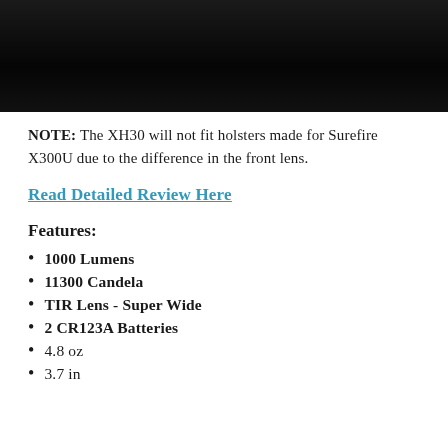[Figure (photo): Dark/black background photo, top portion of page]
NOTE: The XH30 will not fit holsters made for Surefire X300U due to the difference in the front lens.
Read Detailed Review Here
Features:
1000 Lumens
11300 Candela
TIR Lens - Super Wide
2 CR123A Batteries
4.8 oz
3.7 in